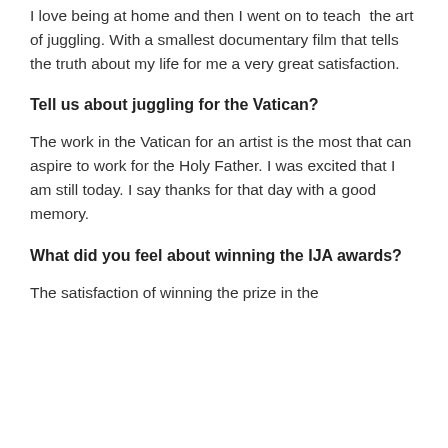I love being at home and then I went on to teach  the art of juggling. With a smallest documentary film that tells the truth about my life for me a very great satisfaction.
Tell us about juggling for the Vatican?
The work in the Vatican for an artist is the most that can aspire to work for the Holy Father. I was excited that I am still today. I say thanks for that day with a good memory.
What did you feel about winning the IJA awards?
The satisfaction of winning the prize in the